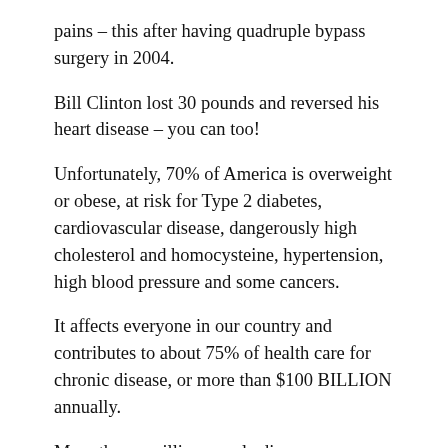pains – this after having quadruple bypass surgery in 2004.
Bill Clinton lost 30 pounds and reversed his heart disease – you can too!
Unfortunately, 70% of America is overweight or obese, at risk for Type 2 diabetes, cardiovascular disease, dangerously high cholesterol and homocysteine, hypertension, high blood pressure and some cancers.
It affects everyone in our country and contributes to about 75% of health care for chronic disease, or more than $100 BILLION annually.
More than a million people die every year from heart related problems and it's all completely unnecessary!